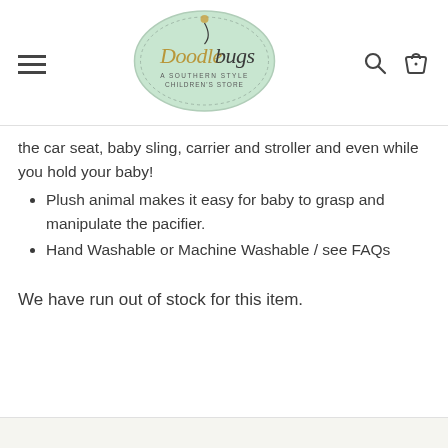[Figure (logo): Doodlebugs A Southern Style Children's Store oval logo in mint green with script text]
the car seat, baby sling, carrier and stroller and even while you hold your baby!
Plush animal makes it easy for baby to grasp and manipulate the pacifier.
Hand Washable or Machine Washable / see FAQs
We have run out of stock for this item.